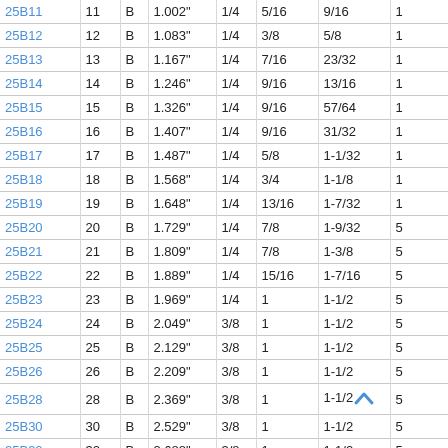| Part | Size | Type | OD | Col5 | Col6 | Col7 | Col8 |
| --- | --- | --- | --- | --- | --- | --- | --- |
| 25B11 | 11 | B | 1.002" | 1/4 | 5/16 | 9/16 | 1 |
| 25B12 | 12 | B | 1.083" | 1/4 | 3/8 | 5/8 | 1 |
| 25B13 | 13 | B | 1.167" | 1/4 | 7/16 | 23/32 | 1 |
| 25B14 | 14 | B | 1.246" | 1/4 | 9/16 | 13/16 | 1 |
| 25B15 | 15 | B | 1.326" | 1/4 | 9/16 | 57/64 | 1 |
| 25B16 | 16 | B | 1.407" | 1/4 | 9/16 | 31/32 | 1 |
| 25B17 | 17 | B | 1.487" | 1/4 | 5/8 | 1-1/32 | 1 |
| 25B18 | 18 | B | 1.568" | 1/4 | 3/4 | 1-1/8 | 1 |
| 25B19 | 19 | B | 1.648" | 1/4 | 13/16 | 1-7/32 | 1 |
| 25B20 | 20 | B | 1.729" | 1/4 | 7/8 | 1-9/32 | 5 |
| 25B21 | 21 | B | 1.809" | 1/4 | 7/8 | 1-3/8 | 5 |
| 25B22 | 22 | B | 1.889" | 1/4 | 15/16 | 1-7/16 | 5 |
| 25B23 | 23 | B | 1.969" | 1/4 | 1 | 1-1/2 | 5 |
| 25B24 | 24 | B | 2.049" | 3/8 | 1 | 1-1/2 | 5 |
| 25B25 | 25 | B | 2.129" | 3/8 | 1 | 1-1/2 | 5 |
| 25B26 | 26 | B | 2.209" | 3/8 | 1 | 1-1/2 | 5 |
| 25B28 | 28 | B | 2.369" | 3/8 | 1 | 1-1/2 | 5 |
| 25B30 | 30 | B | 2.529" | 3/8 | 1 | 1-1/2 | 5 |
| 25B32 | 32 | B | 2.688" | 3/8 | 1 | 1-1/2 | 5 |